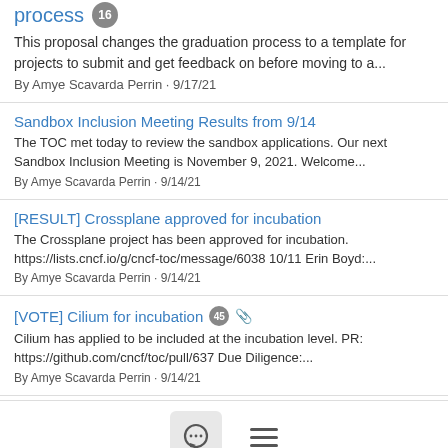process 16 — This proposal changes the graduation process to a template for projects to submit and get feedback on before moving to a... By Amye Scavarda Perrin · 9/17/21
Sandbox Inclusion Meeting Results from 9/14 — The TOC met today to review the sandbox applications. Our next Sandbox Inclusion Meeting is November 9, 2021. Welcome... By Amye Scavarda Perrin · 9/14/21
[RESULT] Crossplane approved for incubation — The Crossplane project has been approved for incubation. https://lists.cncf.io/g/cncf-toc/message/6038 10/11 Erin Boyd:... By Amye Scavarda Perrin · 9/14/21
[VOTE] Cilium for incubation 45 (attachment) — Cilium has applied to be included at the incubation level. PR: https://github.com/cncf/toc/pull/637 Due Diligence:... By Amye Scavarda Perrin · 9/14/21
[Figure (other): Bottom navigation bar with chat bubble icon button and hamburger menu icon]